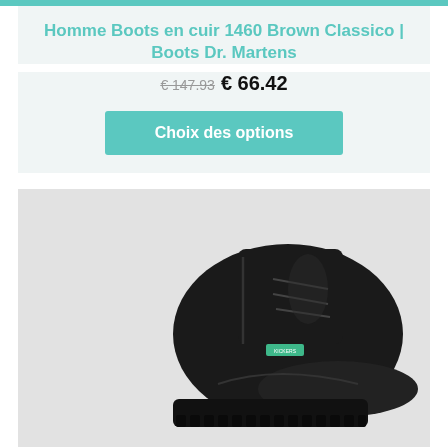Homme Boots en cuir 1460 Brown Classico | Boots Dr. Martens
€ 147.93  € 66.42
Choix des options
[Figure (photo): Black leather ankle boot with chunky serrated sole and green brand label on the side, displayed on a light grey background.]